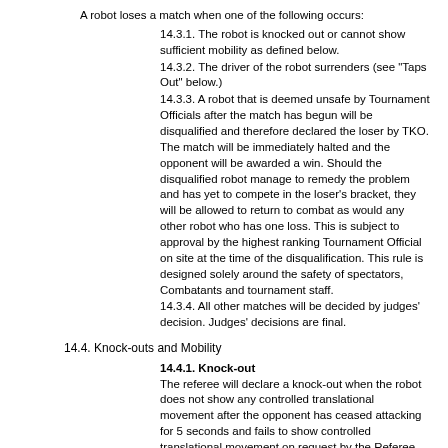A robot loses a match when one of the following occurs:
14.3.1. The robot is knocked out or cannot show sufficient mobility as defined below.
14.3.2. The driver of the robot surrenders (see "Taps Out" below.)
14.3.3. A robot that is deemed unsafe by Tournament Officials after the match has begun will be disqualified and therefore declared the loser by TKO. The match will be immediately halted and the opponent will be awarded a win. Should the disqualified robot manage to remedy the problem and has yet to compete in the loser's bracket, they will be allowed to return to combat as would any other robot who has one loss. This is subject to approval by the highest ranking Tournament Official on site at the time of the disqualification. This rule is designed solely around the safety of spectators, Combatants and tournament staff.
14.3.4. All other matches will be decided by judges' decision. Judges' decisions are final.
14.4. Knock-outs and Mobility
14.4.1. Knock-out
The referee will declare a knock-out when the robot does not show any controlled translational movement after the opponent has ceased attacking for 5 seconds and fails to show controlled translational movement on request by the Referee.
The robot will be issued a 10 second countdown. If the robot does not show controlled translational movement on request by the Referee.